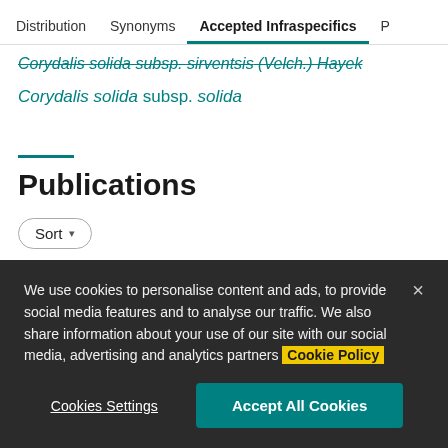Distribution | Synonyms | Accepted Infraspecifics | P
Corydalis solida subsp. sírventsis (Velch.) Hayek
Corydalis solida subsp. solida
Publications
Sort
We use cookies to personalise content and ads, to provide social media features and to analyse our traffic. We also share information about your use of our site with our social media, advertising and analytics partners Cookie Policy
Cookies Settings
Accept All Cookies